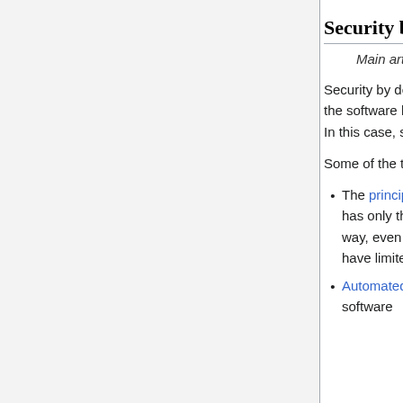Security by design [edit]
Main article: Secure by design
Security by design, or alternately secure by design, means that the software has been designed from the ground up to be secure. In this case, security is considered as a main feature.
Some of the techniques in this approach include:
The principle of least privilege, where each part of the system has only the privileges that are needed for its function. That way, even if an attacker gains access to that part, they only have limited access to the whole system.
Automated theorem proving to prove the correctness of crucial software